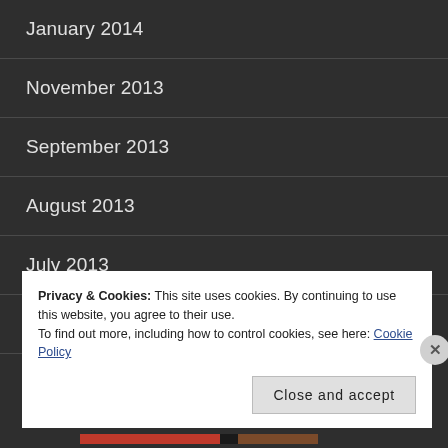January 2014
November 2013
September 2013
August 2013
July 2013
June 2013
Privacy & Cookies: This site uses cookies. By continuing to use this website, you agree to their use.
To find out more, including how to control cookies, see here: Cookie Policy
Close and accept